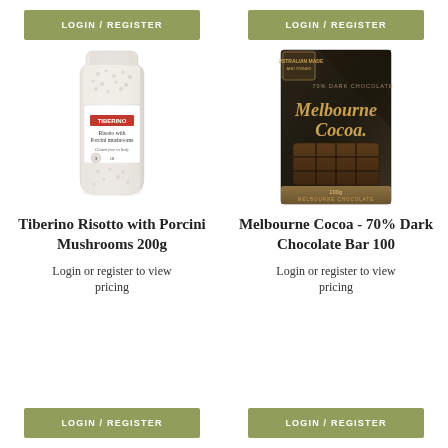[Figure (screenshot): LOGIN / REGISTER button top-left, olive green background]
[Figure (screenshot): LOGIN / REGISTER button top-right, olive green background]
[Figure (photo): Tiberino Risotto with Porcini Mushrooms 200g product package]
[Figure (photo): Melbourne Cocoa 70% Dark Chocolate Bar 100 product package]
Tiberino Risotto with Porcini Mushrooms 200g
Melbourne Cocoa - 70% Dark Chocolate Bar 100
Login or register to view pricing
Login or register to view pricing
[Figure (screenshot): LOGIN / REGISTER button bottom-left, olive green background]
[Figure (screenshot): LOGIN / REGISTER button bottom-right, olive green background]